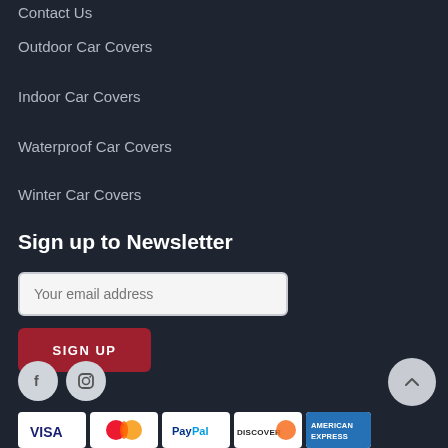Contact Us
Outdoor Car Covers
Indoor Car Covers
Waterproof Car Covers
Winter Car Covers
Sign up to Newsletter
Your email address
SIGN UP
[Figure (infographic): Social media icons (Facebook, Instagram) and payment method logos (Visa, Mastercard, PayPal, Discover, American Express) with a scroll-to-top button]